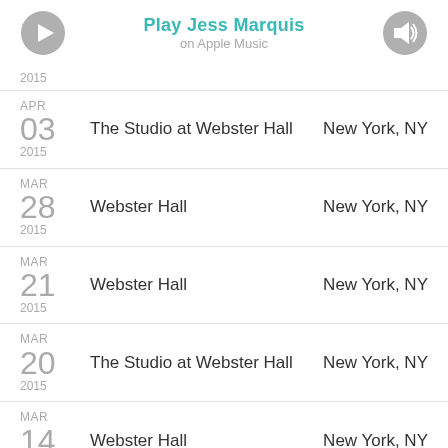[Figure (screenshot): Header with play button icon, 'Play Jess Marquis on Apple Music' text in teal, and speaker icon]
2015
APR 03 2015 — The Studio at Webster Hall — New York, NY
MAR 28 2015 — Webster Hall — New York, NY
MAR 21 2015 — Webster Hall — New York, NY
MAR 20 2015 — The Studio at Webster Hall — New York, NY
MAR 14 2015 — Webster Hall — New York, NY